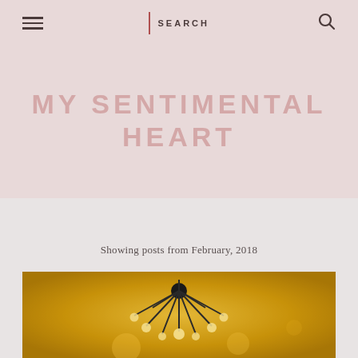MY SENTIMENTAL HEART — SEARCH
MY SENTIMENTAL HEART
Showing posts from February, 2018
[Figure (photo): Warm golden-toned photo of a modern sputnik chandelier light fixture with black metal arms and round globe bulbs, ceiling shot]